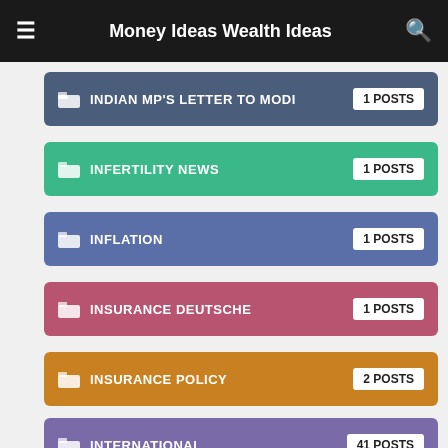Money Ideas Wealth Ideas
INDIAN MP'S LETTER TO MODI — 1 POSTS
INFERTILITY NEWS — 1 POSTS
INFLATION — 1 POSTS
INSURANCE DEUTSCHE — 1 POSTS
INSURANCE POLICY — 2 POSTS
INTERNATIONAL — 41 POSTS
IRAN — 1 POSTS
IRAN-UK TENSION — 1 POSTS